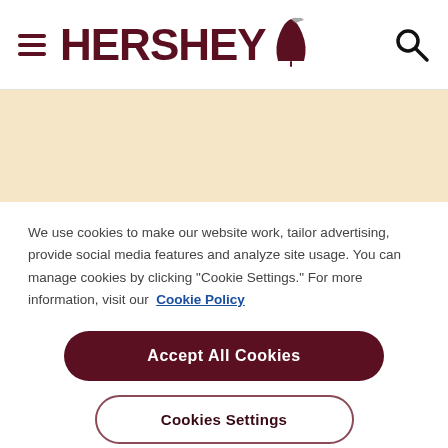HERSHEY
[Figure (illustration): Hershey Kiss logo mark beside the HERSHEY wordmark]
We use cookies to make our website work, tailor advertising, provide social media features and analyze site usage. You can manage cookies by clicking “Cookie Settings.” For more information, visit our  Cookie Policy
Accept All Cookies
Cookies Settings